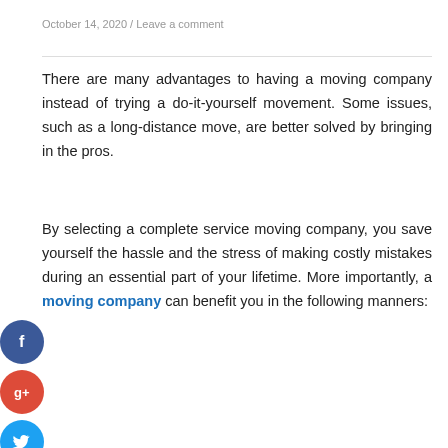October 14, 2020 / Leave a comment
There are many advantages to having a moving company instead of trying a do-it-yourself movement. Some issues, such as a long-distance move, are better solved by bringing in the pros.
By selecting a complete service moving company, you save yourself the hassle and the stress of making costly mistakes during an essential part of your lifetime. More importantly, a moving company can benefit you in the following manners: